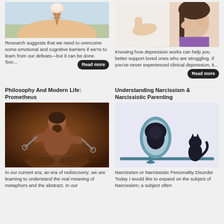[Figure (photo): Photo of ice cream cone balanced on a person's belly/stomach at a beach]
Research suggests that we need to overcome some emotional and cognitive barriers if we're to learn from our defeats—but it can be done. Soo...
[Figure (photo): Photo of a hand reaching out and a woman in purple shirt covering her face with hands, depicting depression]
Knowing how depression works can help you better support loved ones who are struggling. If you've never experienced clinical depression, it...
Philosophy And Modern Life: Prometheus
Understanding Narcissism & Narcissistic Parenting
[Figure (illustration): Illustration of Prometheus, a muscular man in chains, mythological painting style]
[Figure (illustration): Illustration of a cat sitting in front of a mirror and seeing a lion reflection, representing narcissism]
In our current era; an era of rediscovery; we are learning to understand the real meaning of metaphors and the abstract. In our
Narcissism or Narcissistic Personality Disorder Today I would like to expand on the subject of Narcissism; a subject often